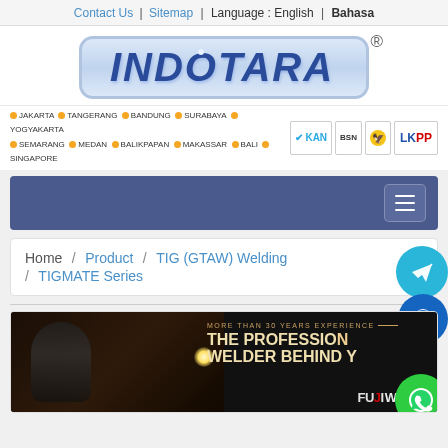Contact Us | Sitemap | Language : English | Bahasa
[Figure (logo): INDOTARA company logo with registered trademark symbol, blue gradient text in rounded rectangle border]
JAKARTA • TANGERANG • BANDUNG • SURABAYA • YOGYAKARTA • SEMARANG • MEDAN • BALIKPAPAN • MAKASSAR • BALI • SINGAPORE
[Figure (infographic): Navigation menu bar with hamburger icon on dark blue-grey background]
Home / Product / TIG (GTAW) Welding / TIGMATE Series
[Figure (photo): FujiWeld product banner: welder at work with spark, text reads MORE THAN 30 YEARS EXPERIENCE, THE PROFESSIONAL WELDER BEHIND YOU, FujiWeld logo at bottom right]